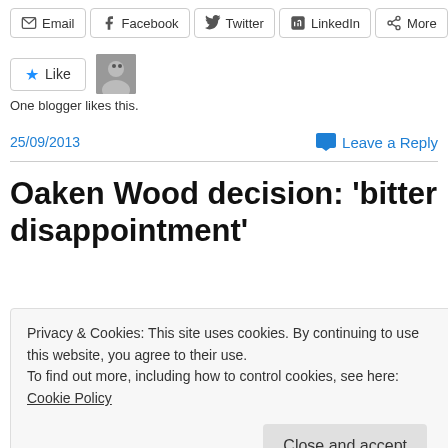Email  Facebook  Twitter  LinkedIn  More
[Figure (other): Like button with star icon and blogger avatar]
One blogger likes this.
25/09/2013
Leave a Reply
Oaken Wood decision: 'bitter disappointment'
Privacy & Cookies: This site uses cookies. By continuing to use this website, you agree to their use. To find out more, including how to control cookies, see here: Cookie Policy
Close and accept